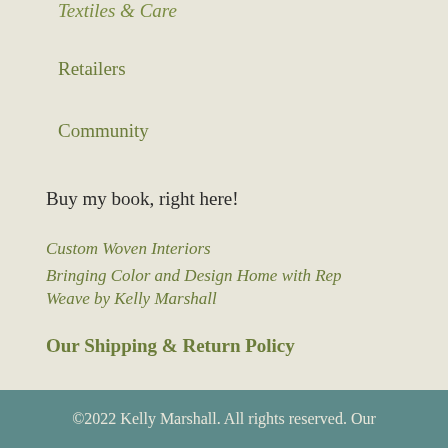Textiles & Care
Retailers
Community
Buy my book, right here!
Custom Woven Interiors
Bringing Color and Design Home with Rep Weave by Kelly Marshall
Our Shipping & Return Policy
©2022 Kelly Marshall. All rights reserved. Our